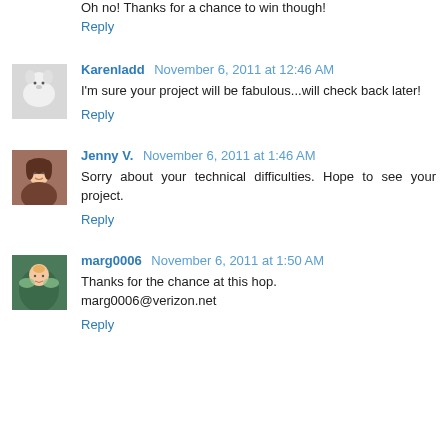Oh no! Thanks for a chance to win though!
Reply
Karenladd  November 6, 2011 at 12:46 AM
I'm sure your project will be fabulous...will check back later!
Reply
Jenny V.  November 6, 2011 at 1:46 AM
Sorry about your technical difficulties. Hope to see your project.
Reply
marg0006  November 6, 2011 at 1:50 AM
Thanks for the chance at this hop.
marg0006@verizon.net
Reply